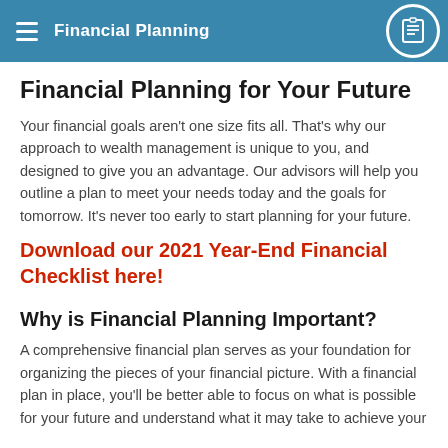Financial Planning
Financial Planning for Your Future
Your financial goals aren't one size fits all. That's why our approach to wealth management is unique to you, and designed to give you an advantage. Our advisors will help you outline a plan to meet your needs today and the goals for tomorrow. It's never too early to start planning for your future.
Download our 2021 Year-End Financial Checklist here!
Why is Financial Planning Important?
A comprehensive financial plan serves as your foundation for organizing the pieces of your financial picture. With a financial plan in place, you'll be better able to focus on what is possible for your future and understand what it may take to achieve your